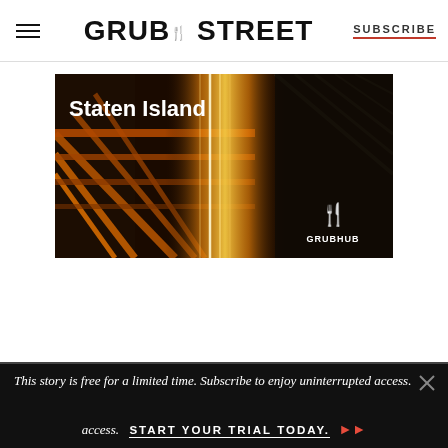GRUB STREET | SUBSCRIBE
[Figure (photo): Advertisement banner showing Staten Island with a bridge at night with light trails. Grubhub logo in the bottom right. Text reads 'Staten Island' in white.]
This story is free for a limited time. Subscribe to enjoy uninterrupted access. START YOUR TRIAL TODAY. »